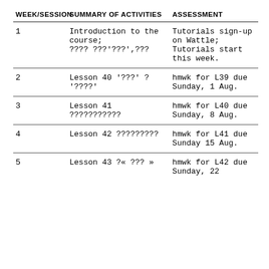| WEEK/SESSION | SUMMARY OF ACTIVITIES | ASSESSMENT |
| --- | --- | --- |
| 1 | Introduction to the course; ????? ???'???',??? | Tutorials sign-up on Wattle; Tutorials start this week. |
| 2 | Lesson 40 '???' ? '????' | hmwk for L39 due Sunday, 1 Aug. |
| 3 | Lesson 41 ??????????? | hmwk for L40 due Sunday, 8 Aug. |
| 4 | Lesson 42 ????????? | hmwk for L41 due Sunday 15 Aug. |
| 5 | Lesson 43 ?« ??? » | hmwk for L42 due Sunday, 22 |